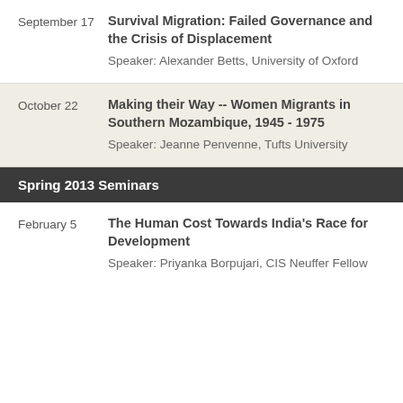September 17 | Survival Migration: Failed Governance and the Crisis of Displacement | Speaker: Alexander Betts, University of Oxford
October 22 | Making their Way -- Women Migrants in Southern Mozambique, 1945 - 1975 | Speaker: Jeanne Penvenne, Tufts University
Spring 2013 Seminars
February 5 | The Human Cost Towards India's Race for Development | Speaker: Priyanka Borpujari, CIS Neuffer Fellow